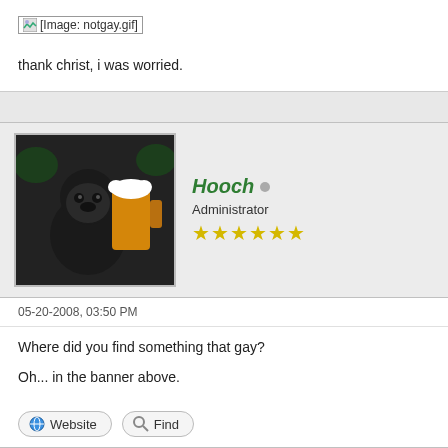[Figure (other): Broken image placeholder labeled [Image: notgay.gif]]
thank christ, i was worried.
Hooch
Administrator
★★★★★★
05-20-2008, 03:50 PM
Where did you find something that gay?

Oh... in the banner above.
Website   Find
Securb